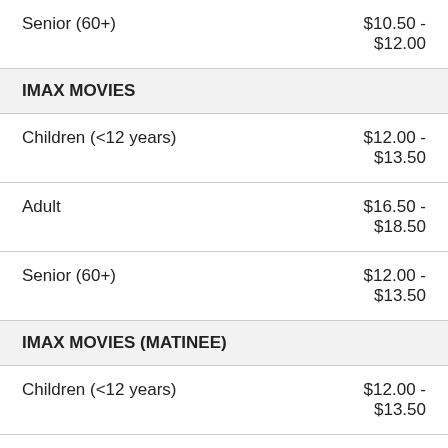| Category | Price |
| --- | --- |
| Senior (60+) | $10.50 - $12.00 |
| IMAX MOVIES |  |
| Children (<12 years) | $12.00 - $13.50 |
| Adult | $16.50 - $18.50 |
| Senior (60+) | $12.00 - $13.50 |
| IMAX MOVIES (MATINEE) |  |
| Children (<12 years) | $12.00 - $13.50 |